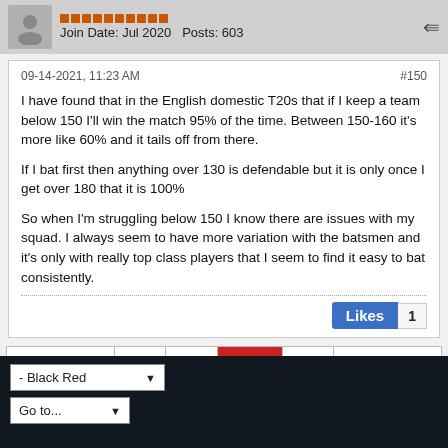Join Date: Jul 2020  Posts: 603
09-14-2021, 11:23 AM  #150
I have found that in the English domestic T20s that if I keep a team below 150 I'll win the match 95% of the time. Between 150-160 it's more like 60% and it tails off from there.

If I bat first then anything over 130 is defendable but it is only once I get over 180 that it is 100%

So when I'm struggling below 150 I know there are issues with my squad. I always seem to have more variation with the batsmen and it's only with really top class players that I seem to find it easy to bat consistently.
Likes 1
Previous 1 9 10 11 Next
- Black Red
Go to...